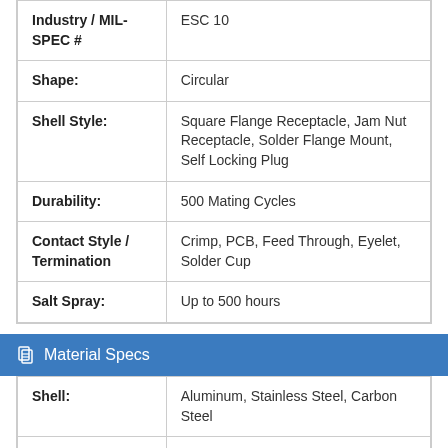| Property | Value |
| --- | --- |
| Industry / MIL-SPEC # | ESC 10 |
| Shape: | Circular |
| Shell Style: | Square Flange Receptacle, Jam Nut Receptacle, Solder Flange Mount, Self Locking Plug |
| Durability: | 500 Mating Cycles |
| Contact Style / Termination | Crimp, PCB, Feed Through, Eyelet, Solder Cup |
| Salt Spray: | Up to 500 hours |
Material Specs
| Property | Value |
| --- | --- |
| Shell: | Aluminum, Stainless Steel, Carbon Steel |
| Shell Plating: | Passivated Stainless Steel, Tin, Zinc Nickel, Nickel, Teflon, Chromate, Nickel... |